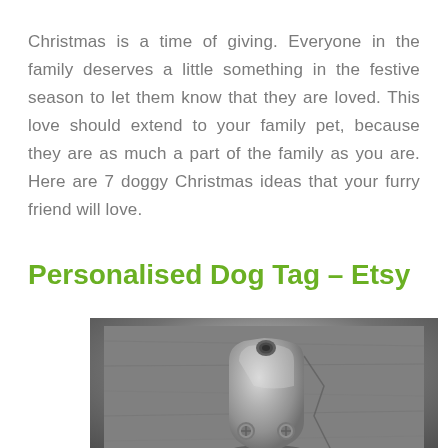Christmas is a time of giving. Everyone in the family deserves a little something in the festive season to let them know that they are loved. This love should extend to your family pet, because they are as much a part of the family as you are. Here are 7 doggy Christmas ideas that your furry friend will love.
Personalised Dog Tag – Etsy
[Figure (photo): Close-up photo of a metal dog tag showing the top ring and surface of a silver/aged metal tag against a dark grey concrete or stone background.]